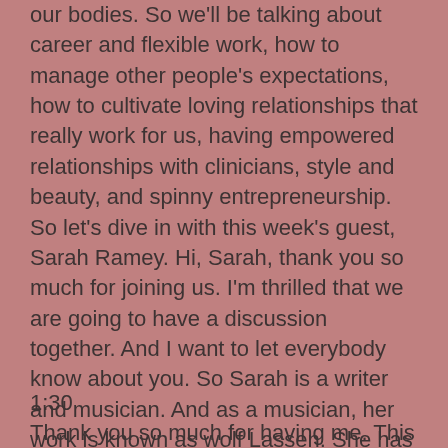our bodies. So we'll be talking about career and flexible work, how to manage other people's expectations, how to cultivate loving relationships that really work for us, having empowered relationships with clinicians, style and beauty, and spinny entrepreneurship. So let's dive in with this week's guest, Sarah Ramey. Hi, Sarah, thank you so much for joining us. I'm thrilled that we are going to have a discussion together. And I want to let everybody know about you. So Sarah is a writer and musician. And as a musician, her work is known as wolf Lassen. She has a very deep story around chronic illness. And she has shared that with us. In her book, The ladies handbook for her mysterious illnesses. So welcome, Sarah, thanks so much for joining us.
1:30
Thank you so much for having me. This is my